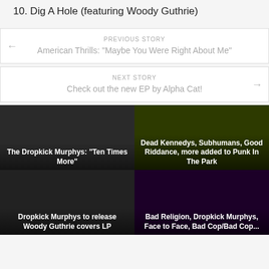10. Dig A Hole (featuring Woody Guthrie)
PREVIOUS STORY
American Thrills: "Maybe You Were Right About Me"
NEXT STORY
Check out the new EP by Alpha Cat!
[Figure (photo): The Dropkick Murphys band photo with caption: The Dropkick Murphys: "Ten Times More"]
[Figure (photo): Punk In The Park artwork with caption: Dead Kennedys, Subhumans, Good Riddance, more added to Punk In The Park]
[Figure (photo): Photo with caption: Dropkick Murphys to release Woody Guthrie covers LP]
[Figure (photo): Photo with caption: Bad Religion, Dropkick Murphys, Face to Face, Bad Cop/Bad Cop...]